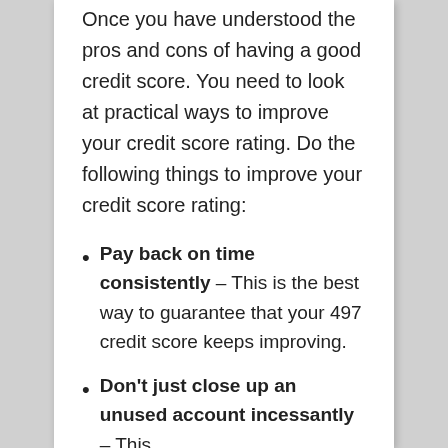Once you have understood the pros and cons of having a good credit score. You need to look at practical ways to improve your credit score rating. Do the following things to improve your credit score rating:
Pay back on time consistently – This is the best way to guarantee that your 497 credit score keeps improving.
Don't just close up an unused account incessantly – This